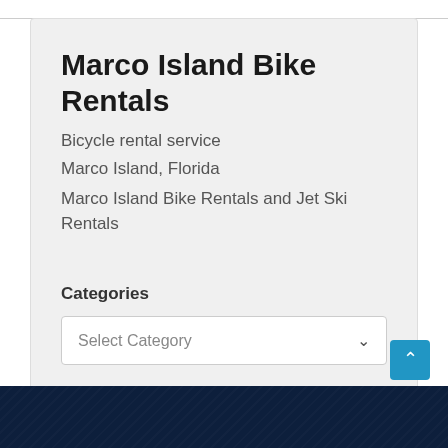Marco Island Bike Rentals
Bicycle rental service
Marco Island, Florida
Marco Island Bike Rentals and Jet Ski Rentals
Categories
Select Category